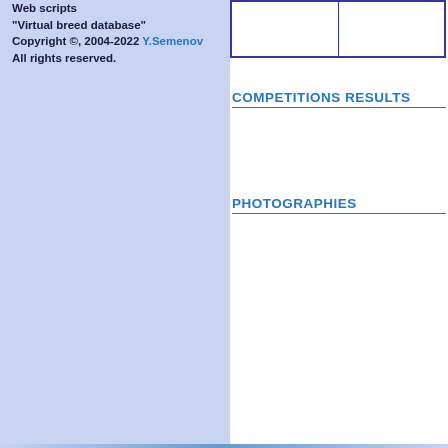Web scripts
"Virtual breed database"
Copyright ©, 2004-2022 Y.Semenov
All rights reserved.
COMPETITIONS RESULTS
PHOTOGRAPHIES